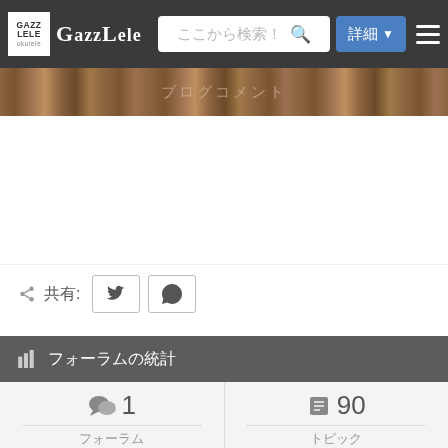GazzLele ここから検索！ 詳細
ブログコメント
共有:
フォーラムの統計
| 種類 | 数値 |
| --- | --- |
| フォーラム | 1 |
| トピック | 90 |
| 投稿 | 92 |
| オンライン | 2 |
| メンバー | 59.9 K |